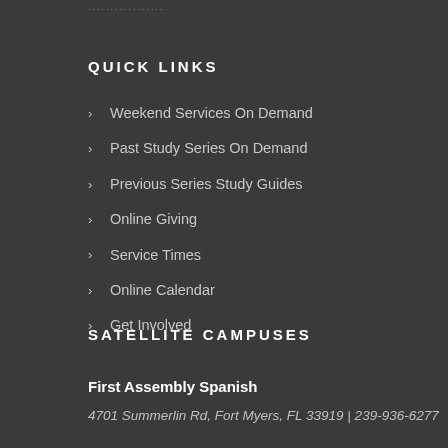QUICK LINKS
Weekend Services On Demand
Past Study Series On Demand
Previous Series Study Guides
Online Giving
Service Times
Online Calendar
Get Involved
SATELLITE CAMPUSES
First Assembly Spanish
4701 Summerlin Rd, Fort Myers, FL 33919 | 239-936-6277